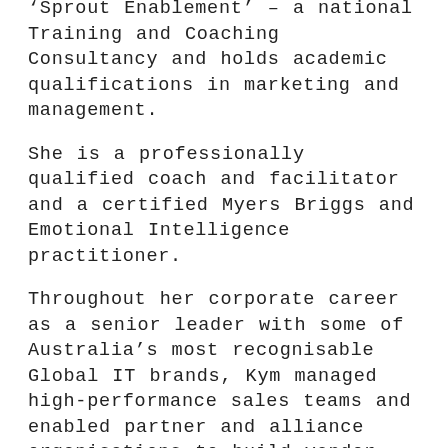'Sprout Enablement' – a national Training and Coaching Consultancy and holds academic qualifications in marketing and management.
She is a professionally qualified coach and facilitator and a certified Myers Briggs and Emotional Intelligence practitioner.
Throughout her corporate career as a senior leader with some of Australia's most recognisable Global IT brands, Kym managed high-performance sales teams and enabled partner and alliance organisations to build vendor brand presence. Amongst Kym's accomplishments of which she is most